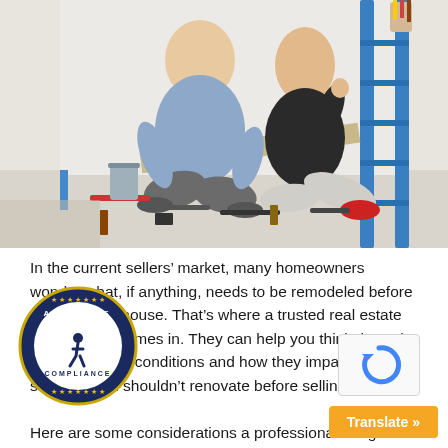[Figure (photo): A couple sitting on the floor surrounded by tools and a measuring tape in a room being renovated, with a blue ladder and paint supplies in the background.]
In the current sellers’ market, many homeowners wonder what, if anything, needs to be remodeled before they list their house. That’s where a trusted real estate professional comes in. They can help you think through today’s market conditions and how they impact what you should – and shouldn’t renovate before selling.
Here are some considerations a professional will guide you through.